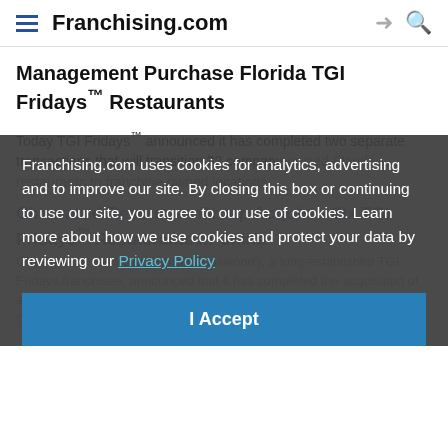Franchising.com
Management Purchase Florida TGI Fridays™ Restaurants
Today TGI Fridays™ announced it has completed two separate transactions that will transition 32 company-owned Florida restaurants to franchise-owned locations.
Franchising.com uses cookies for analytics, advertising and to improve our site. By closing this box or continuing to use our site, you agree to our use of cookies. Learn more about how we use cookies and protect your data by reviewing our Privacy Policy
I Accept
Chaswood Resources Group Acquires Six TGI Fridays™ Restaurants in China
Chaswood Resources Group ('Chaswood'), a long-established TGI Fridays franchisee, announced that it has completed the acquisition of an additional six TGI Fridays restaurants in Beijing and Shanghai ('Acquisition') on April 20, 2015